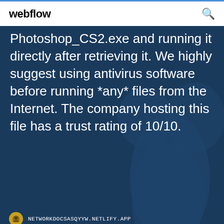webflow
Photoshop_CS2.exe and running it directly after retrieving it. We highly suggest using antivirus software before running *any* files from the Internet. The company hosting this file has a trust rating of 10/10.
NETWORKDOCSASQYYW.NETLIFY.APP
كيف تلعب التطبيق دون تنزبله
Adobe Photoshop CC 2018 64/32 Bit